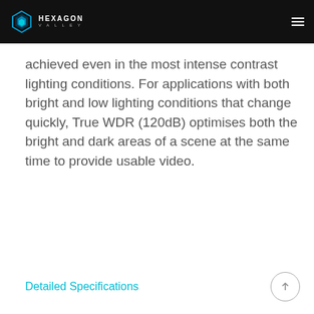HEXAGON VALLEY
achieved even in the most intense contrast lighting conditions. For applications with both bright and low lighting conditions that change quickly, True WDR (120dB) optimises both the bright and dark areas of a scene at the same time to provide usable video.
Detailed Specifications